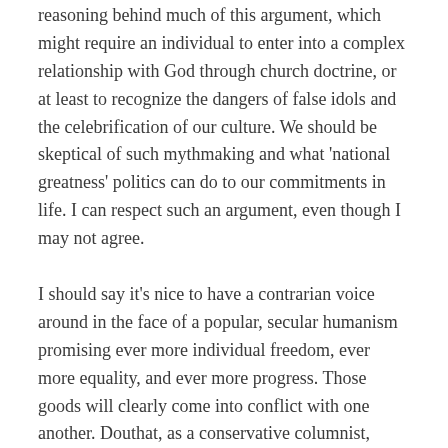reasoning behind much of this argument, which might require an individual to enter into a complex relationship with God through church doctrine, or at least to recognize the dangers of false idols and the celebrification of our culture. We should be skeptical of such mythmaking and what ‘national greatness’ politics can do to our commitments in life. I can respect such an argument, even though I may not agree.
I should say it’s nice to have a contrarian voice around in the face of a popular, secular humanism promising ever more individual freedom, ever more equality, and ever more progress. Those goods will clearly come into conflict with one another. Douthat, as a conservative columnist, seems to be living up the the Buckley-esque mandate of standing athwart history yelling: ‘Stop.’